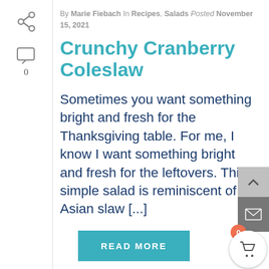By Marie Fiebach In Recipes, Salads Posted November 15, 2021
Crunchy Cranberry Coleslaw
Sometimes you want something bright and fresh for the Thanksgiving table. For me, I know I want something bright and fresh for the leftovers. This simple salad is reminiscent of an Asian slaw [...]